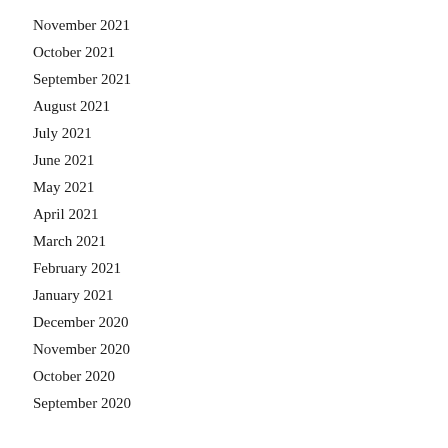November 2021
October 2021
September 2021
August 2021
July 2021
June 2021
May 2021
April 2021
March 2021
February 2021
January 2021
December 2020
November 2020
October 2020
September 2020